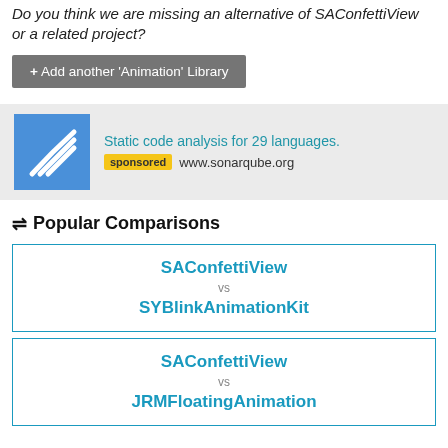Do you think we are missing an alternative of SAConfettiView or a related project?
+ Add another 'Animation' Library
[Figure (infographic): Advertisement banner: SonarQube logo (blue square with white arc lines) alongside text 'Static code analysis for 29 languages.' with 'sponsored' badge and 'www.sonarqube.org']
⇌ Popular Comparisons
| SAConfettiView | vs | SYBlinkAnimationKit |
| SAConfettiView | vs | JRMFloatingAnimation |